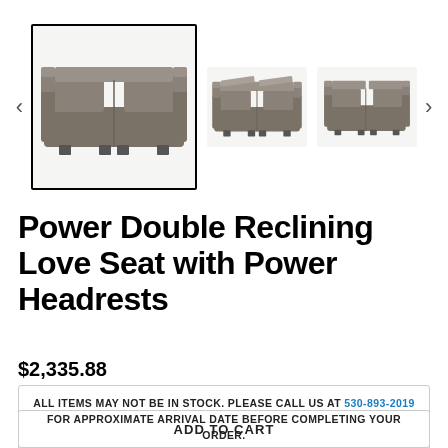[Figure (photo): Three thumbnail images of a gray leather power double reclining love seat with power headrests. The first (selected/highlighted with a black border) shows a front-facing view, the second shows the sofa in a reclined position, and the third shows a side-angled view.]
Power Double Reclining Love Seat with Power Headrests
$2,335.88
ALL ITEMS MAY NOT BE IN STOCK. PLEASE CALL US AT 530-893-2019 FOR APPROXIMATE ARRIVAL DATE BEFORE COMPLETING YOUR ORDER.
ADD TO CART